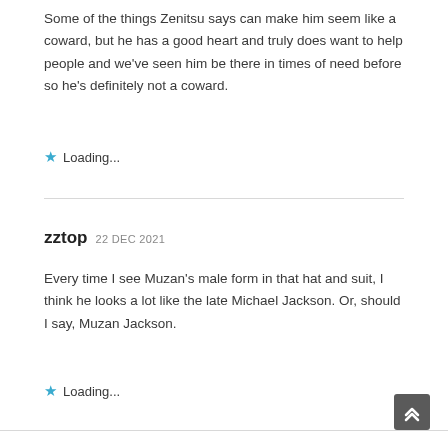Some of the things Zenitsu says can make him seem like a coward, but he has a good heart and truly does want to help people and we've seen him be there in times of need before so he's definitely not a coward.
Loading...
zztop 22 DEC 2021
Every time I see Muzan's male form in that hat and suit, I think he looks a lot like the late Michael Jackson. Or, should I say, Muzan Jackson.
Loading...